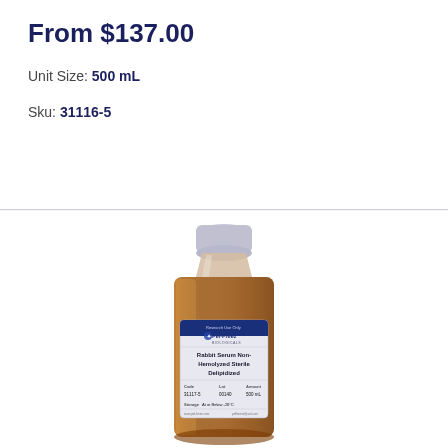From $137.00
Unit Size: 500 mL
Sku: 31116-5
[Figure (photo): A glass bottle of Pel-Freez Rabbit Serum Non-Hemolyzed Sterile Delipidized, 500 mL, with a white/grey cap and amber-colored liquid inside, showing a label with product name, Code: 31117-5, Lot: 00140, Amount: 500 mL, Storage: At or Below -20°C]